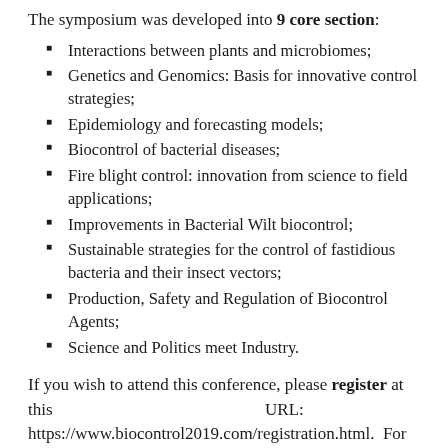The symposium was developed into 9 core section:
Interactions between plants and microbiomes;
Genetics and Genomics: Basis for innovative control strategies;
Epidemiology and forecasting models;
Biocontrol of bacterial diseases;
Fire blight control: innovation from science to field applications;
Improvements in Bacterial Wilt biocontrol;
Sustainable strategies for the control of fastidious bacteria and their insect vectors;
Production, Safety and Regulation of Biocontrol Agents;
Science and Politics meet Industry.
If you wish to attend this conference, please register at this URL: https://www.biocontrol2019.com/registration.html. For support by the EuroXanth COST Action, please send a